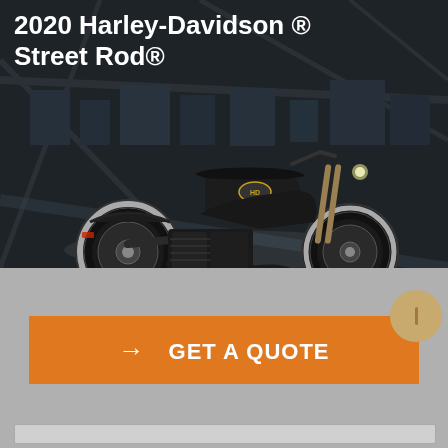2020 Harley-Davidson ® Street Rod®
[Figure (photo): Black 2020 Harley-Davidson Street Rod motorcycle shown in profile view against a dark aerial city background]
[Figure (other): Orange 'GET A QUOTE' call-to-action button with right arrow, on a gray background panel. A tan circular button appears to the right.]